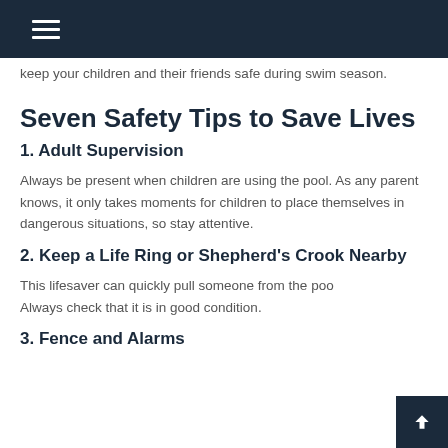keep your children and their friends safe during swim season.
Seven Safety Tips to Save Lives
1. Adult Supervision
Always be present when children are using the pool. As any parent knows, it only takes moments for children to place themselves in dangerous situations, so stay attentive.
2. Keep a Life Ring or Shepherd's Crook Nearby
This lifesaver can quickly pull someone from the pool. Always check that it is in good condition.
3. Fence and Alarms